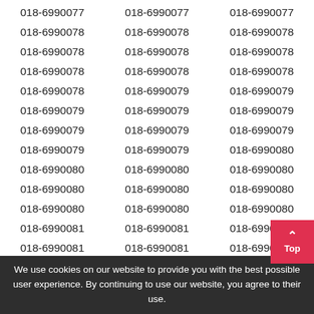| Col1 | Col2 | Col3 |
| --- | --- | --- |
| 018-6990077 | 018-6990077 | 018-6990077 |
| 018-6990078 | 018-6990078 | 018-6990078 |
| 018-6990078 | 018-6990078 | 018-6990078 |
| 018-6990078 | 018-6990078 | 018-6990078 |
| 018-6990078 | 018-6990079 | 018-6990079 |
| 018-6990079 | 018-6990079 | 018-6990079 |
| 018-6990079 | 018-6990079 | 018-6990079 |
| 018-6990079 | 018-6990079 | 018-6990080 |
| 018-6990080 | 018-6990080 | 018-6990080 |
| 018-6990080 | 018-6990080 | 018-6990080 |
| 018-6990080 | 018-6990080 | 018-6990080 |
| 018-6990081 | 018-6990081 | 018-6990081 |
| 018-6990081 | 018-6990081 | 018-6990081 |
| 018-6990081 | 018-6990081 | 018-6990081 |
| 018-6990081 | 018-6990082 | 018-6990082 |
We use cookies on our website to provide you with the best possible user experience. By continuing to use our website, you agree to their use.